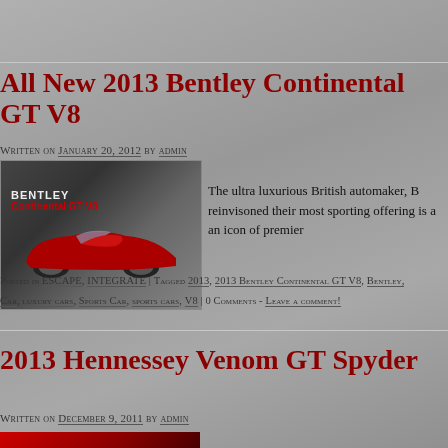All New 2013 Bentley Continental GT V8
Written on January 20, 2012 by admin
[Figure (photo): Bentley Continental GT V8 promotional image showing red car against dark abstract background with BENTLEY Continental GT V8 text]
The ultra luxurious British automaker, B reinvisoned their most sporting offering is a an icon of premier
Posted in ESCAPE, INTEGRATE | Tagged 2013, 2013 Bentley Continental GT V8, Bentley, Car, luxury cars, Sports Car, sports cars, V8 | 0 Comments - Leave a comment!
2013 Hennessey Venom GT Spyder
Written on December 9, 2011 by admin